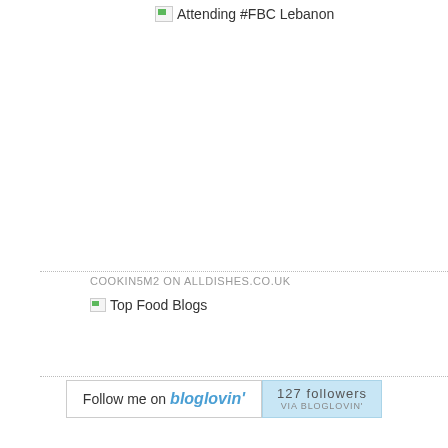[Figure (other): Broken image placeholder with text 'Attending #FBC Lebanon']
COOKIN5M2 ON ALLDISHES.CO.UK
[Figure (other): Broken image placeholder with text 'Top Food Blogs']
[Figure (other): Bloglovin follow button showing 'Follow me on bloglovin'' and '127 followers VIA BLOGLOVIN']